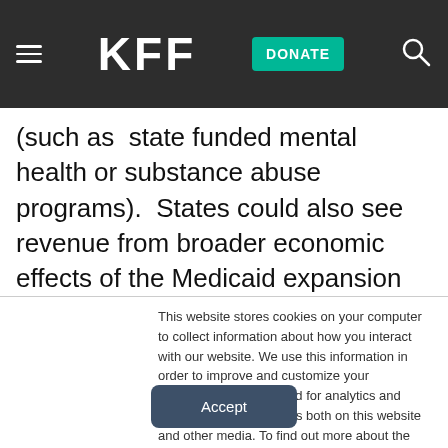KFF  DONATE
(such as  state funded mental health or substance abuse programs).  States could also see revenue from broader economic effects of the Medicaid expansion such as increased jobs, income and state tax revenues at the state level within the health care sector and beyond due to the multiplier effect of spending.
This website stores cookies on your computer to collect information about how you interact with our website. We use this information in order to improve and customize your browsing experience and for analytics and metrics about our visitors both on this website and other media. To find out more about the cookies we use, see our Privacy Policy.
Accept